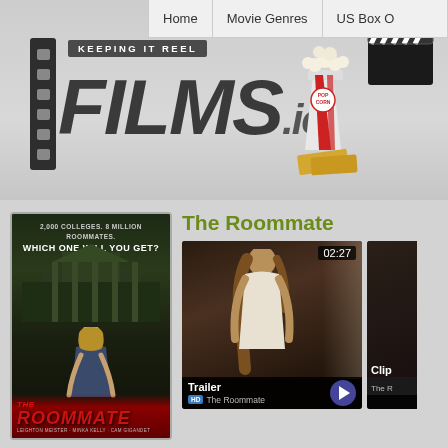Home | Movie Genres | US Box O
[Figure (logo): Films.ie website logo with filmstrip graphic, 'KEEPING IT REEL' banner, large FILMS.ie text, and popcorn/clapperboard illustration]
[Figure (photo): The Roommate movie poster: dark horror/thriller film poster with college building, blonde woman in foreground, text '2,000 colleges. 8 million roommates. Which one will you get?' and THE ROOMMATE title]
The Roommate
[Figure (screenshot): Video thumbnail for The Roommate trailer showing a woman in a dimly lit room, time stamp 02:27, with Trailer label and HD badge]
[Figure (screenshot): Partially visible video thumbnail labeled 'Clip' for The Roommate]